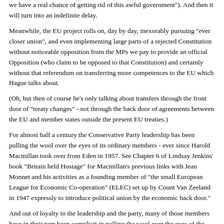we have a real chance of getting rid of this awful government"). And then it will turn into an indefinite delay.
Meanwhile, the EU project rolls on, day by day, inexorably pursuing "ever closer union", and even implementing large parts of a rejected Constitution without noticeable opposition from the MPs we pay to provide an official Opposition (who claim to be opposed to that Constitution) and certainly without that referendum on transferring more competences to the EU which Hague talks about.
(Oh, but then of course he's only talking about transfers through the front door of "treaty changes" - not through the back door of agreements between the EU and member states outside the present EU treaties.)
For almost half a century the Conservative Party leadership has been pulling the wool over the eyes of its ordinary members - ever since Harold Macmillan took over from Eden in 1957. See Chapter 6 of Lindsay Jenkins' book "Britain held Hostage" for Macmillan's previous links with Jean Monnet and his activities as a founding member of "the small European League for Economic Co-operation" (ELEC) set up by Count Van Zeeland in 1947 expressly to introduce political union by the economic back door."
And out of loyalty to the leadership and the party, many of those members have in their turn been complicit in pulling the wool over the eyes of the electorate.
Now it really is "make your mind up time". The EU project has reached the s